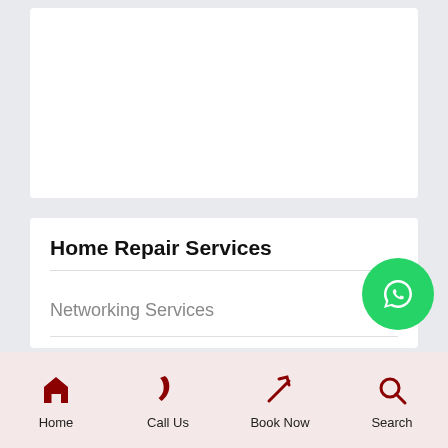[Figure (screenshot): Empty white card area at top of the page]
Home Repair Services
Networking Services
Laptop Repair Services in Bhubaneswar 8093011080
[Figure (logo): WhatsApp circular green button icon]
Home   Call Us   Book Now   Search